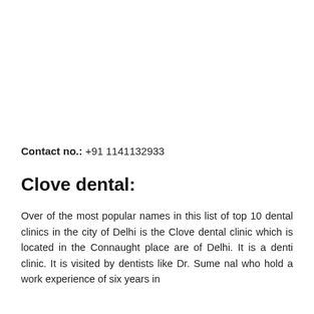Contact no.: +91 1141132933
Clove dental:
Over of the most popular names in this list of top 10 dental clinics in the city of Delhi is the Clove dental clinic which is located in the Connaught place are of Delhi. It is a denti clinic. It is visited by dentists like Dr. Sume nal who hold a work experience of six years in